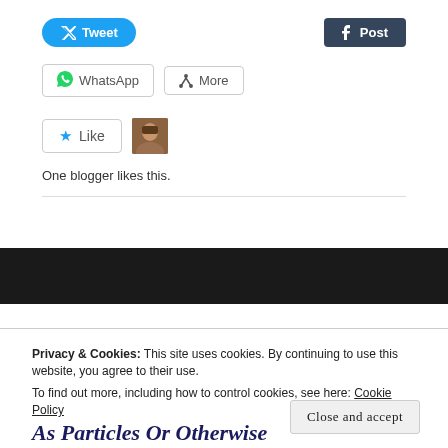[Figure (screenshot): Social share buttons: Tweet (blue pill button), Post/Tumblr (dark button), WhatsApp button, More button]
[Figure (screenshot): Like button with star icon, and a small avatar thumbnail of a person]
One blogger likes this.
Privacy & Cookies: This site uses cookies. By continuing to use this website, you agree to their use.
To find out more, including how to control cookies, see here: Cookie Policy
Close and accept
As Particles Or Otherwise